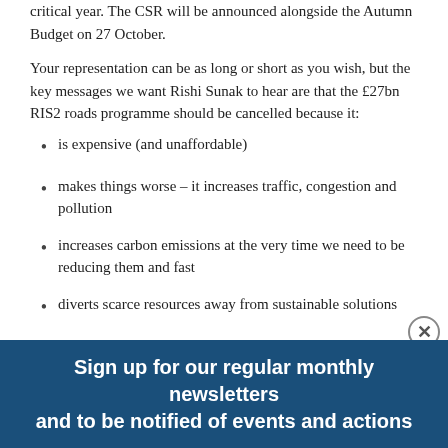critical year. The CSR will be announced alongside the Autumn Budget on 27 October.
Your representation can be as long or short as you wish, but the key messages we want Rishi Sunak to hear are that the £27bn RIS2 roads programme should be cancelled because it:
is expensive (and unaffordable)
makes things worse – it increases traffic, congestion and pollution
increases carbon emissions at the very time we need to be reducing them and fast
diverts scarce resources away from sustainable solutions
undermines the levelling up / reducing inequality agenda
Sign up for our regular monthly newsletters and to be notified of events and actions